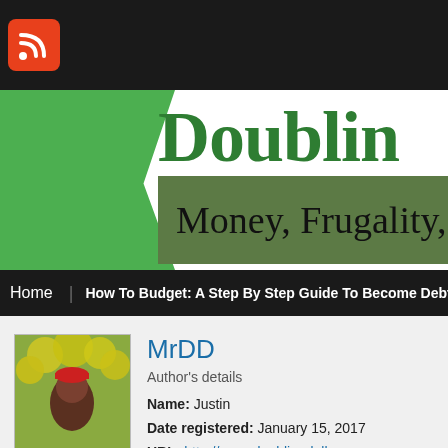[Figure (logo): RSS feed icon - orange rounded square with white RSS symbol]
Doublin
Money, Frugality,
Home | How To Budget: A Step By Step Guide To Become Debt
[Figure (photo): Profile photo of a person with yellow flowers in the background]
MrDD
Author's details
Name: Justin
Date registered: January 15, 2017
URL: http://www.doublingdollars.com